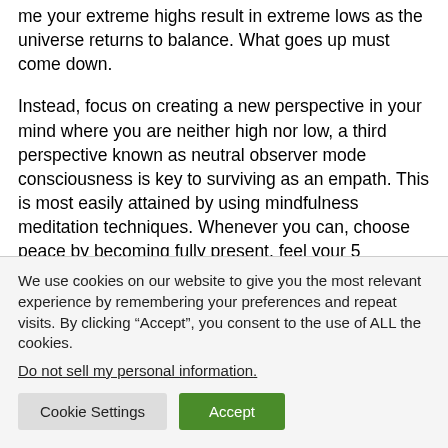me your extreme highs result in extreme lows as the universe returns to balance. What goes up must come down.
Instead, focus on creating a new perspective in your mind where you are neither high nor low, a third perspective known as neutral observer mode consciousness is key to surviving as an empath. This is most easily attained by using mindfulness meditation techniques. Whenever you can, choose peace by becoming fully present, feel your 5
We use cookies on our website to give you the most relevant experience by remembering your preferences and repeat visits. By clicking “Accept”, you consent to the use of ALL the cookies.
Do not sell my personal information.